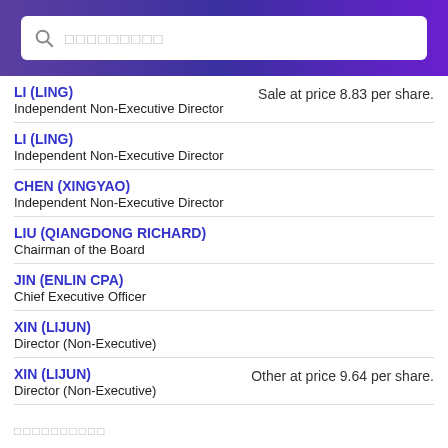Search bar with placeholder text
LI (LING) / Independent Non-Executive Director / Sale at price 8.83 per share.
LI (LING) / Independent Non-Executive Director
CHEN (XINGYAO) / Independent Non-Executive Director
LIU (QIANGDONG RICHARD) / Chairman of the Board
JIN (ENLIN CPA) / Chief Executive Officer
XIN (LIJUN) / Director (Non-Executive)
XIN (LIJUN) / Director (Non-Executive) / Other at price 9.64 per share.
□□□□□□□□□□